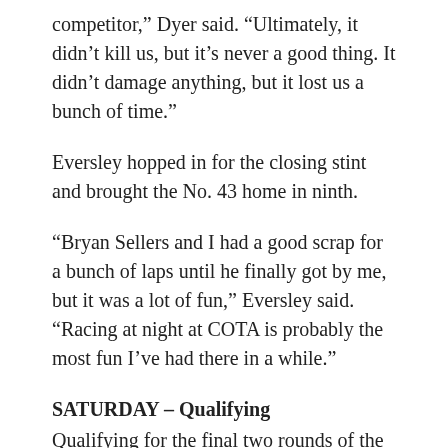competitor,” Dyer said. “Ultimately, it didn’t kill us, but it’s never a good thing. It didn’t damage anything, but it lost us a bunch of time.”
Eversley hopped in for the closing stint and brought the No. 43 home in ninth.
“Bryan Sellers and I had a good scrap for a bunch of laps until he finally got by me, but it was a lot of fun,” Eversley said. “Racing at night at COTA is probably the most fun I’ve had there in a while.”
SATURDAY – Qualifying
Qualifying for the final two rounds of the Sprint-X Championship took place mid-day on Saturday